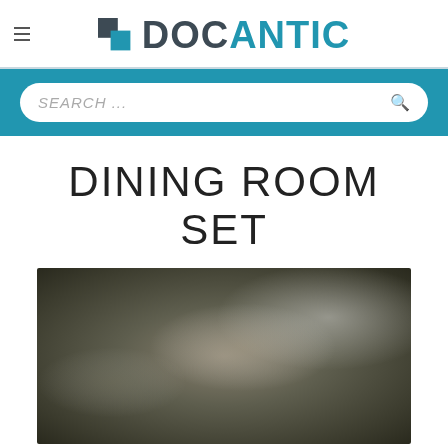DOCANTIC
SEARCH ...
DINING ROOM SET
[Figure (photo): Blurred/obscured photo of a dining room set]